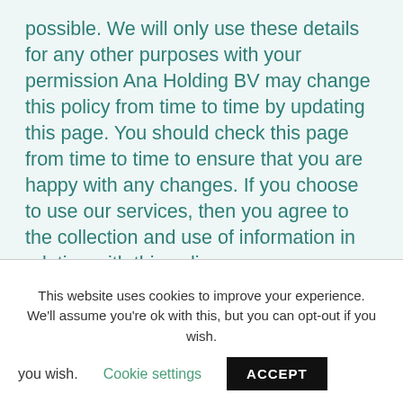possible. We will only use these details for any other purposes with your permission Ana Holding BV may change this policy from time to time by updating this page. You should check this page from time to time to ensure that you are happy with any changes. If you choose to use our services, then you agree to the collection and use of information in relation with this policy.
Mapping website visit
This website uses cookies to improve your experience. We'll assume you're ok with this, but you can opt-out if you wish. Cookie settings ACCEPT